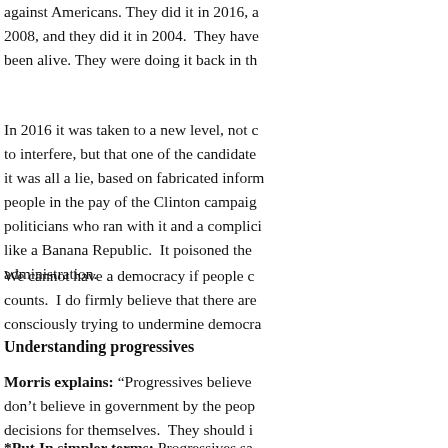against Americans. They did it in 2016, a 2008, and they did it in 2004. They have been alive. They were doing it back in th
In 2016 it was taken to a new level, not c to interfere, but that one of the candidate it was all a lie, based on fabricated inform people in the pay of the Clinton campaig politicians who ran with it and a complici like a Banana Republic. It poisoned the administration.
We cannot have a democracy if people c counts. I do firmly believe that there are consciously trying to undermine democra
Understanding progressives
Morris explains: “Progressives believe don’t believe in government by the peop decisions for themselves. They should i for them, a process that begins with gove
*Put In simpler terms: Progressives sa